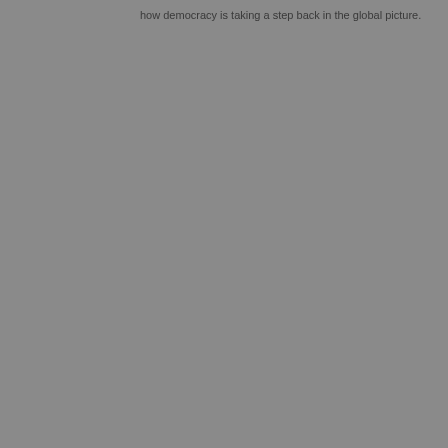how democracy is taking a step back in the global picture.